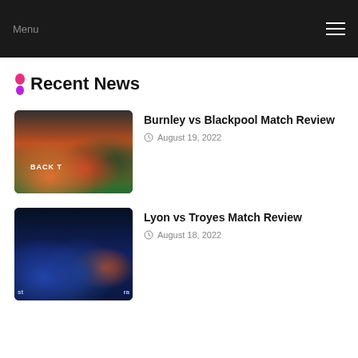Menu
Recent News
[Figure (photo): Football match photo – Burnley vs Blackpool, players on pitch with orange kits, BACK TO sign visible]
Burnley vs Blackpool Match Review
August 19, 2022
[Figure (photo): Football match photo – Lyon vs Troyes, players in blue kits on pitch at night]
Lyon vs Troyes Match Review
August 18, 2022